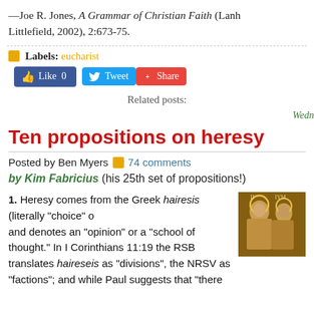—Joe R. Jones, A Grammar of Christian Faith (Lanh... Littlefield, 2002), 2:673-75.
Labels: eucharist
[Figure (screenshot): Like 0 button (Facebook), Tweet button (Twitter), Share button (red)]
Related posts:
Wedn...
Ten propositions on heresy
Posted by Ben Myers 74 comments
by Kim Fabricius (his 25th set of propositions!)
1. Heresy comes from the Greek hairesis (literally "choice" o... and denotes an "opinion" or a "school of thought." In I Corinthians 11:19 the RSB translates haireseis as "divisions", the NRSV as "factions"; and while Paul suggests that "there...
[Figure (photo): Religious icon image showing figures with halos, brownish-gold tone]